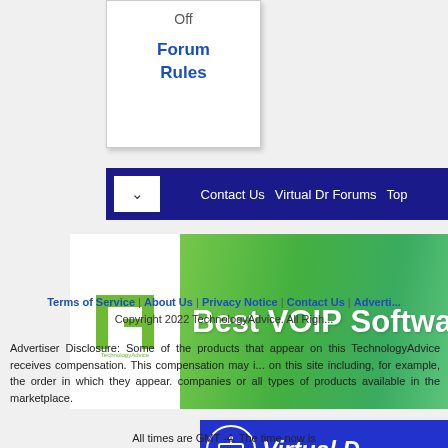Off
Forum Rules
[Figure (screenshot): Navigation bar with dark blue background showing dropdown arrow, Contact Us, Virtual Dr Forums, and Top links]
[Figure (logo): TechnologyAdvice banner with green gradient background, TA logo on left, and 'Best VOIP Softwa...' text]
[Figure (logo): Virtual Dr badge with blue background, medical kit icon, and 'Virtual D...' text in italic white]
Terms of Service | About Us | Privacy Notice | Contact Us | Adverti...
Copyright 2022 TechnologyAdvice. All Righ...
Advertiser Disclosure: Some of the products that appear on this TechnologyAdvice receives compensation. This compensation may i... on this site including, for example, the order in which they appear. companies or all types of products available in the marketplace.
All times are GMT -4. The time now is